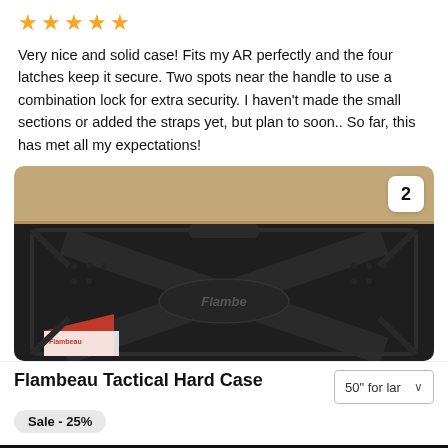[Figure (other): Five gold star rating icons]
Very nice and solid case! Fits my AR perfectly and the four latches keep it secure. Two spots near the handle to use a combination lock for extra security. I haven't made the small sections or added the straps yet, but plan to soon.. So far, this has met all my expectations!
[Figure (photo): Photo of a Flambeau brand hard tactical case (black, closed, showing X-pattern top) on a sandy/tan surface. A badge with the number 2 is in the upper right corner of the photo.]
Flambeau Tactical Hard Case
Sale - 25%
50" for lar
Add to cart